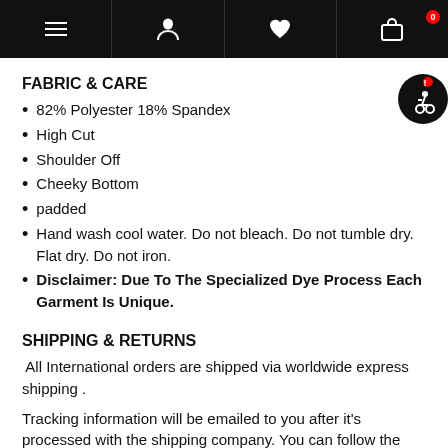Navigation bar with menu, account, wishlist, and cart (0) icons
FABRIC & CARE
82% Polyester 18% Spandex
High Cut
Shoulder Off
Cheeky Bottom
padded
Hand wash cool water. Do not bleach. Do not tumble dry. Flat dry. Do not iron.
Disclaimer: Due To The Specialized Dye Process Each Garment Is Unique.
SHIPPING & RETURNS
All International orders are shipped via worldwide express shipping .
Tracking information will be emailed to you after it's processed with the shipping company. You can follow the shipment here : https://beachebomb.com/tools/track-your-order